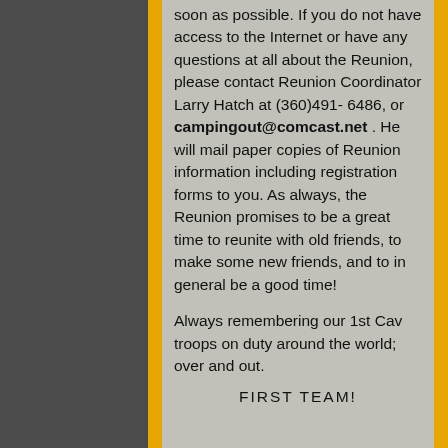soon as possible. If you do not have access to the Internet or have any questions at all about the Reunion, please contact Reunion Coordinator Larry Hatch at (360)491- 6486, or campingout@comcast.net . He will mail paper copies of Reunion information including registration forms to you. As always, the Reunion promises to be a great time to reunite with old friends, to make some new friends, and to in general be a good time!
Always remembering our 1st Cav troops on duty around the world; over and out.
FIRST TEAM!